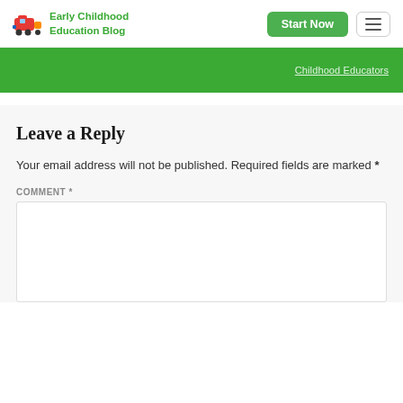Early Childhood Education Blog | Start Now | Menu
[Figure (screenshot): Green navigation banner with text 'Childhood Educators' partially visible on the right side]
Leave a Reply
Your email address will not be published. Required fields are marked *
COMMENT *